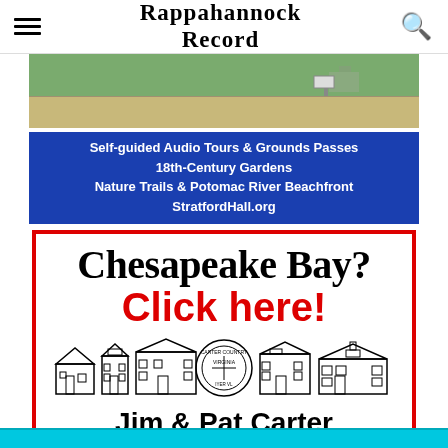Rappahannock Record
[Figure (photo): Stratford Hall grounds photo showing road and greenery]
[Figure (infographic): Stratford Hall advertisement: Self-guided Audio Tours & Grounds Passes, 18th-Century Gardens, Nature Trails & Potomac River Beachfront, StratfordHall.org]
[Figure (infographic): Jim & Pat Carter Real Estate ad: Chesapeake Bay? Click here! with historic building illustrations]
[Figure (infographic): Cyan banner at bottom of page]